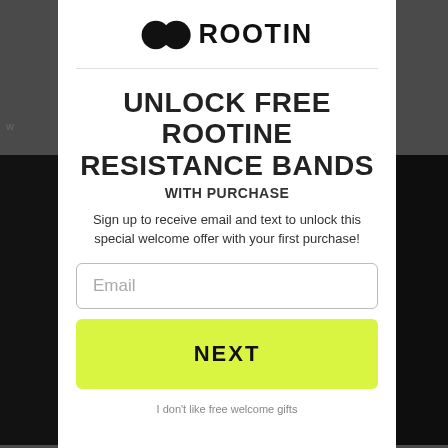[Figure (logo): Rootine brand logo with two overlapping circles and ROOTINE text]
UNLOCK FREE ROOTINE RESISTANCE BANDS
WITH PURCHASE
Sign up to receive email and text to unlock this special welcome offer with your first purchase!
Email
NEXT
I don't like free welcome gifts